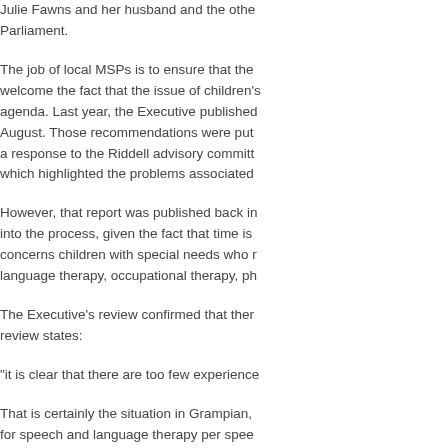Julie Fawns and her husband and the other petitioners who came to Parliament.
The job of local MSPs is to ensure that the welcome the fact that the issue of children's agenda. Last year, the Executive published August. Those recommendations were put a response to the Riddell advisory committ which highlighted the problems associated
However, that report was published back in into the process, given the fact that time is concerns children with special needs who r language therapy, occupational therapy, ph
The Executive's review confirmed that ther review states:
"it is clear that there are too few experience
That is certainly the situation in Grampian, for speech and language therapy per spee therapy waiting lists in Grampian is four tim Board has the third-highest level of vacanc parliamentary answer that I received from t
As of today, and following inquiries this mo posts are vacant—that is, 10 of the 30 pos problem in the service because so many of to greater problems. In Aberdeenshire, five on the families that are involved and the ch cases, therapists work in small teams. If a